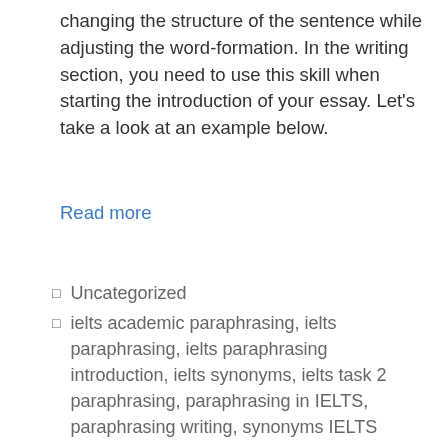changing the structure of the sentence while adjusting the word-formation. In the writing section, you need to use this skill when starting the introduction of your essay. Let’s take a look at an example below.
Read more
Uncategorized
ielts academic paraphrasing, ielts paraphrasing, ielts paraphrasing introduction, ielts synonyms, ielts task 2 paraphrasing, paraphrasing in IELTS, paraphrasing writing, synonyms IELTS